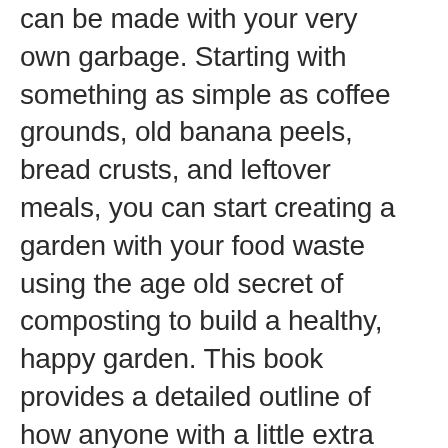can be made with your very own garbage. Starting with something as simple as coffee grounds, old banana peels, bread crusts, and leftover meals, you can start creating a garden with your food waste using the age old secret of composting to build a healthy, happy garden. This book provides a detailed outline of how anyone with a little extra space and a garden can start composting today.